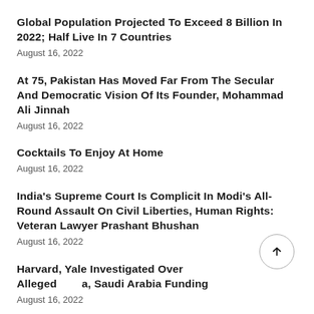Global Population Projected To Exceed 8 Billion In 2022; Half Live In 7 Countries
August 16, 2022
At 75, Pakistan Has Moved Far From The Secular And Democratic Vision Of Its Founder, Mohammad Ali Jinnah
August 16, 2022
Cocktails To Enjoy At Home
August 16, 2022
India's Supreme Court Is Complicit In Modi's All-Round Assault On Civil Liberties, Human Rights: Veteran Lawyer Prashant Bhushan
August 16, 2022
Harvard, Yale Investigated Over Alleged China, Saudi Arabia Funding
August 16, 2022